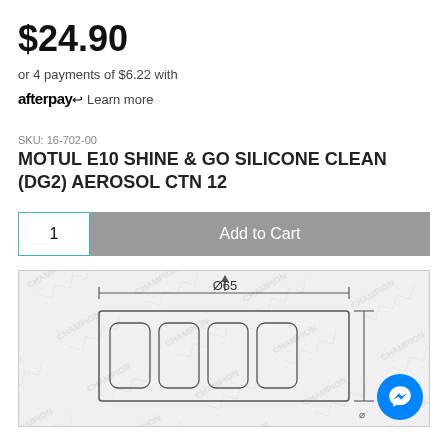$24.90
or 4 payments of $6.22 with afterpay Learn more
SKU: 16-702-00
MOTUL E10 SHINE & GO SILICONE CLEAN (DG2) AEROSOL CTN 12
[Figure (screenshot): Add to Cart button with quantity input showing 1]
[Figure (engineering-diagram): Technical engineering diagram showing a cylindrical part with dimension Ø65, watermarked with CHAMPION logo pattern]